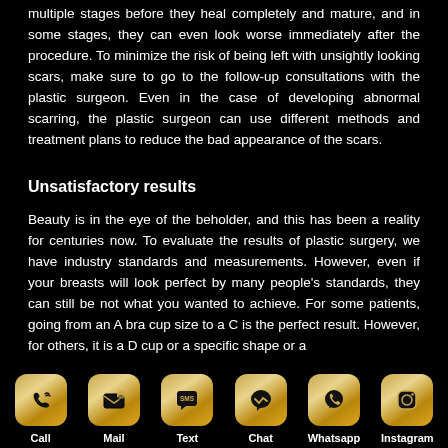multiple stages before they heal completely and mature, and in some stages, they can even look worse immediately after the procedure. To minimize the risk of being left with unsightly looking scars, make sure to go to the follow-up consultations with the plastic surgeon. Even in the case of developing abnormal scarring, the plastic surgeon can use different methods and treatment plans to reduce the bad appearance of the scars.
Unsatisfactory results
Beauty is in the eye of the beholder, and this has been a reality for centuries now. To evaluate the results of plastic surgery, we have industry standards and measurements. However, even if your breasts will look perfect by many people's standards, they can still be not what you wanted to achieve. For some patients, going from an A bra cup size to a C is the perfect result. However, for others, it is a D cup or a specific shape or a
Call | Mail | Text | Chat | Whatsapp | Instagram